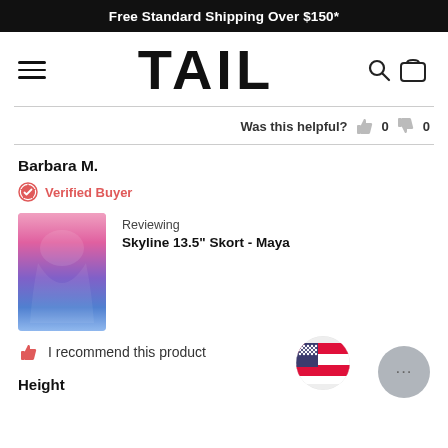Free Standard Shipping Over $150*
[Figure (logo): TAIL brand logo with hamburger menu, search icon, and cart icon navigation bar]
Was this helpful? 👍 0 👎 0
Barbara M.
Verified Buyer
Reviewing
Skyline 13.5" Skort - Maya
I recommend this product
Height